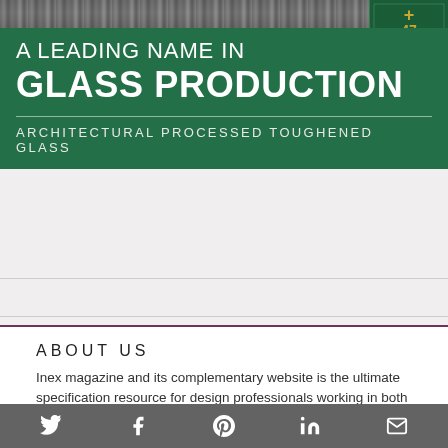[Figure (illustration): Green banner advertisement for a glass production company. Shows crowd photo strip at top, an anniversary badge (47 years, In The Making 1975-2022) in top right corner. Large text reads 'A LEADING NAME IN GLASS PRODUCTION' with tagline 'ARCHITECTURAL PROCESSED TOUGHENED GLASS' on dark green background.]
ABOUT US
Inex magazine and its complementary website is the ultimate specification resource for design professionals working in both the domestic and
Social share bar with Twitter, Facebook, Pinterest, LinkedIn, and Email icons